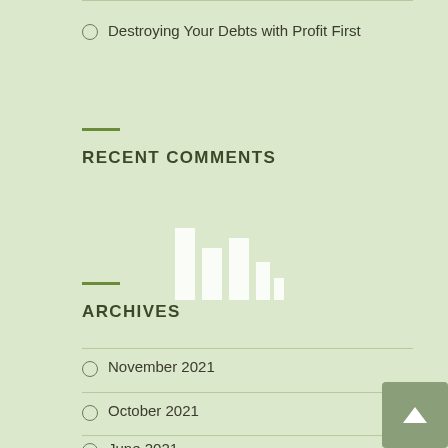Destroying Your Debts with Profit First
RECENT COMMENTS
[Figure (illustration): Bar chart icon with white bars on green background]
ARCHIVES
November 2021
October 2021
June 2021